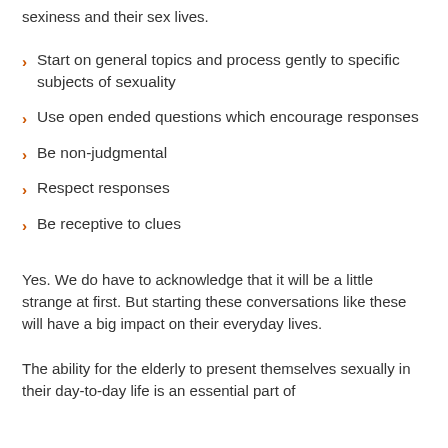sexiness and their sex lives.
Start on general topics and process gently to specific subjects of sexuality
Use open ended questions which encourage responses
Be non-judgmental
Respect responses
Be receptive to clues
Yes. We do have to acknowledge that it will be a little strange at first. But starting these conversations like these will have a big impact on their everyday lives.
The ability for the elderly to present themselves sexually in their day-to-day life is an essential part of